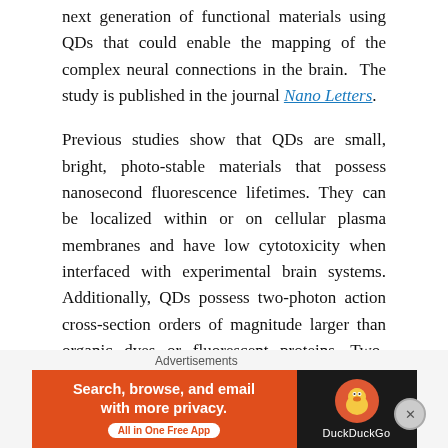next generation of functional materials using QDs that could enable the mapping of the complex neural connections in the brain. The study is published in the journal Nano Letters.
Previous studies show that QDs are small, bright, photo-stable materials that possess nanosecond fluorescence lifetimes. They can be localized within or on cellular plasma membranes and have low cytotoxicity when interfaced with experimental brain systems. Additionally, QDs possess two-photon action cross-section orders of magnitude larger than organic dyes or fluorescent proteins. Two-photon imaging is the preferred imaging modality for imaging deep into the brain and
[Figure (other): DuckDuckGo advertisement banner: orange left panel with text 'Search, browse, and email with more privacy. All in One Free App' and dark right panel with DuckDuckGo logo and brand name.]